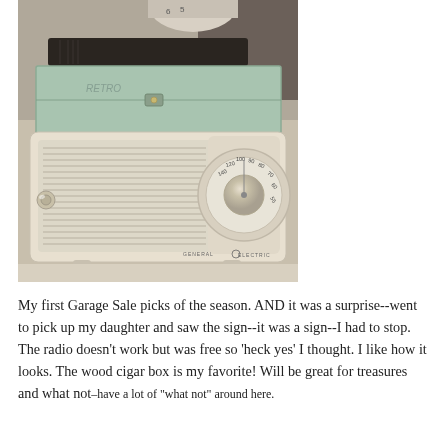[Figure (photo): Vintage General Electric transistor radio (cream/beige colored) with speaker grille and tuning dial, stacked beneath a mint green wooden cigar box and a dark wallet/book, all resting on a light surface. The photo has a warm, vintage-toned filter.]
My first Garage Sale picks of the season. AND it was a surprise--went to pick up my daughter and saw the sign--it was a sign--I had to stop. The radio doesn't work but was free so 'heck yes' I thought. I like how it looks. The wood cigar box is my favorite! Will be great for treasures and what not–have a lot of 'what not' around here.